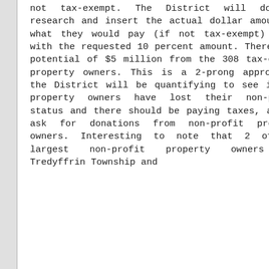not tax-exempt. The District will do the research and insert the actual dollar amount of what they would pay (if not tax-exempt) along with the requested 10 percent amount. There is a potential of $5 million from the 308 tax-exempt property owners. This is a 2-prong approach – the District will be quantifying to see if any property owners have lost their non-profit status and there should be paying taxes, and to ask for donations from non-profit property owners. Interesting to note that 2 of the largest non-profit property owners are Tredyffrin Township and